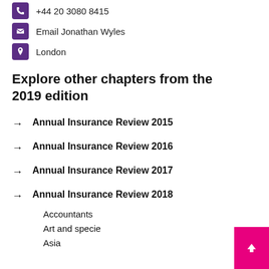+44 20 3080 8415
Email Jonathan Wyles
London
Explore other chapters from the 2019 edition
Annual Insurance Review 2015
Annual Insurance Review 2016
Annual Insurance Review 2017
Annual Insurance Review 2018
Accountants
Art and specie
Asia